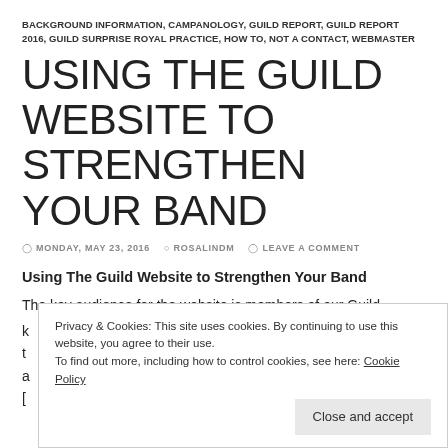BACKGROUND INFORMATION, CAMPANOLOGY, GUILD REPORT, GUILD REPORT 2016, GUILD SURPRISE ROYAL PRACTICE, HOW TO, NOT A CONTACT, WEBMASTER
USING THE GUILD WEBSITE TO STRENGTHEN YOUR BAND
MONDAY, MAY 23, 2016   ROSALINDM   LEAVE A COMMENT
Using The Guild Website to Strengthen Your Band
The key audience for the website is members of our Guild.
Privacy & Cookies: This site uses cookies. By continuing to use this website, you agree to their use.
To find out more, including how to control cookies, see here: Cookie Policy
Close and accept